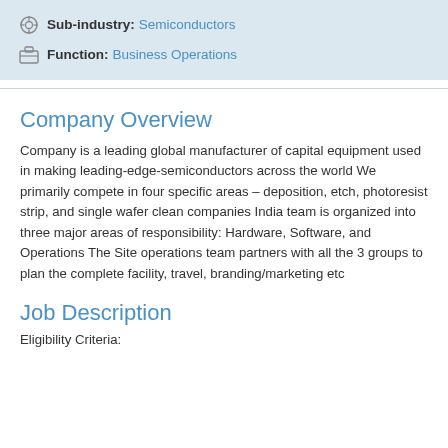Sub-industry: Semiconductors
Function: Business Operations
Company Overview
Company is a leading global manufacturer of capital equipment used in making leading-edge-semiconductors across the world We primarily compete in four specific areas – deposition, etch, photoresist strip, and single wafer clean companies India team is organized into three major areas of responsibility: Hardware, Software, and Operations The Site operations team partners with all the 3 groups to plan the complete facility, travel, branding/marketing etc
Job Description
Eligibility Criteria: